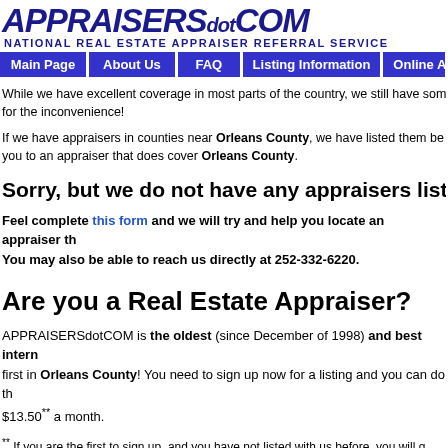APPRAISERSdotCOM — NATIONAL REAL ESTATE APPRAISER REFERRAL SERVICE
[Figure (other): Navigation bar with links: Main Page, About Us, FAQ, Listing Information, Online A...]
While we have excellent coverage in most parts of the country, we still have some gaps. We apologize for the inconvenience!
If we have appraisers in counties near Orleans County, we have listed them below. Otherwise we refer you to an appraiser that does cover Orleans County.
Sorry, but we do not have any appraisers listed w...
Feel complete this form and we will try and help you locate an appraiser th... You may also be able to reach us directly at 252-332-6220.
Are you a Real Estate Appraiser?
APPRAISERSdotCOM is the oldest (since December of 1998) and best intern... first in Orleans County! You need to sign up now for a listing and you can do th... $13.50** a month.
** If you are the first to sign up, and you have not listed with us before, you will get... per month! Do you serve more counties? We have special rates to cover your s... details on our Listing Plans and the First In Area discount requirements.
Remember, we will list all appraisers in all counties, including Orleans County...